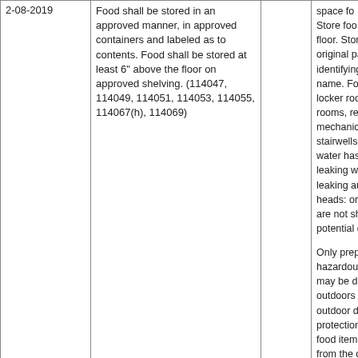| Date | Description | Score | Notes |
| --- | --- | --- | --- |
| 2-08-2019 | Food shall be stored in an approved manner, in approved containers and labeled as to contents. Food shall be stored at least 6" above the floor on approved shelving. (114047, 114049, 114051, 114053, 114055, 114067(h), 114069) | 2.00 | space fo... Store foo... floor. Stor... original pa... identifying... name. Fo... locker roo... rooms, re... mechanic... stairwells... water has... leaking w... leaking au... heads: or... are not sh... potential d...

Only prep... hazardou... may be d... outdoors... outdoor d... protection... food item... from the o... stored ins... food facili... during bu... |